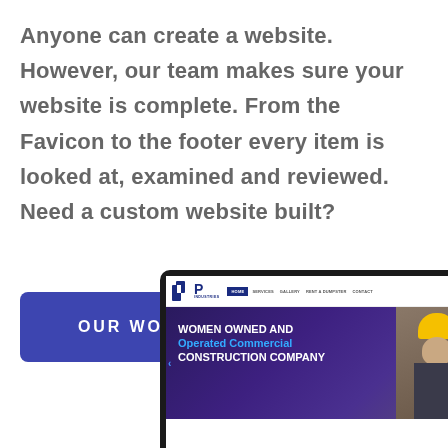Anyone can create a website. However, our team makes sure your website is complete. From the Favicon to the footer every item is looked at, examined and reviewed. Need a custom website built?
[Figure (screenshot): Button labeled OUR WORK with blue background and rounded corners]
[Figure (screenshot): Laptop screen showing JP Industries website with navigation bar (HOME, SERVICES, GALLERY, RENT A DUMPSTER, CONTACT), and hero section reading 'Women Owned and Operated Commercial Construction Company' with a worker in a yellow helmet]